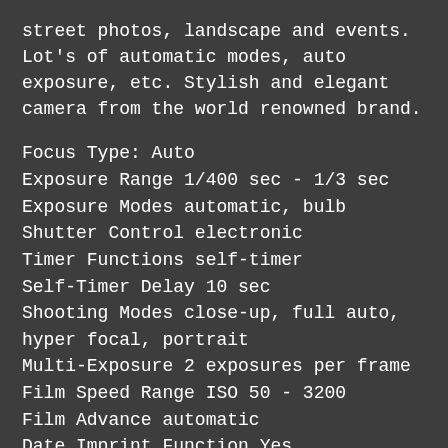street photos, landscape and events. Lot's of automatic modes, auto exposure, etc. Stylish and elegant camera from the world renowned brand.
Focus Type: Auto
Exposure Range 1/400 sec - 1/3 sec
Exposure Modes automatic, bulb
Shutter Control electronic
Timer Functions self-timer
Self-Timer Delay 10 sec
Shooting Modes close-up, full auto, hyper focal, portrait
Multi-Exposure 2 exposures per frame
Film Speed Range ISO 50 - 3200
Film Advance automatic
Date Imprint Function Yes
Status LCD Display
Information battery condition, flash mode, frame counter,